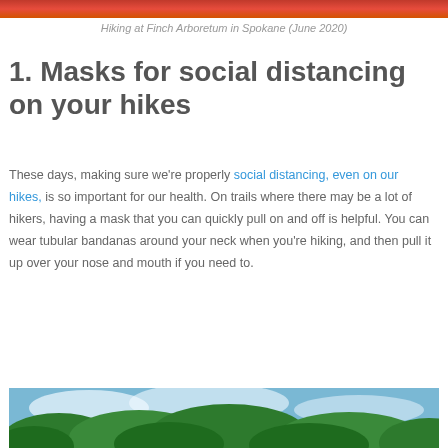[Figure (photo): Top strip of a hiking photo at Finch Arboretum]
Hiking at Finch Arboretum in Spokane (June 2020)
1. Masks for social distancing on your hikes
These days, making sure we're properly social distancing, even on our hikes, is so important for our health. On trails where there may be a lot of hikers, having a mask that you can quickly pull on and off is helpful. You can wear tubular bandanas around your neck when you're hiking, and then pull it up over your nose and mouth if you need to.
[Figure (photo): Bottom portion of a nature/tree photo showing sky and green foliage]